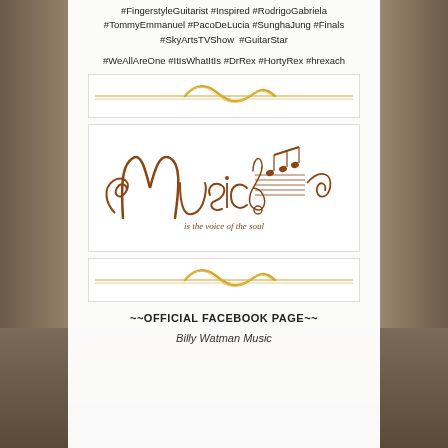#FingerstyleGuitarist #Inspired #RodrigoGabriela #TommyEmmanuel #PacoDeLucia #SunghaJung #Finals #SkyArtsTVShow #GuitarStar
#WeAllAreOne #ItIsWhatItIs #DrRex #HortyRex #hrexach
[Figure (illustration): Gold decorative divider with wave/ribbon ornament]
[Figure (illustration): Ornate calligraphic text reading 'Music is the voice of the soul' in brown/copper color with musical notes and treble clef decorations]
[Figure (illustration): Gold decorative divider with wave/ribbon ornament]
~~OFFICIAL FACEBOOK PAGE~~
Billy Watman Music